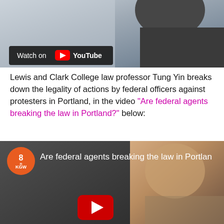[Figure (screenshot): YouTube video thumbnail showing a man in a suit, with a 'Watch on YouTube' overlay bar at the bottom left.]
Lewis and Clark College law professor Tung Yin breaks down the legality of actions by federal officers against protesters in Portland, in the video “Are federal agents breaking the law in Portland?” below:
[Figure (screenshot): YouTube video embed showing KGW8 news channel video titled 'Are federal agents breaking the law in Portland?' with a man's face visible on the right side and a YouTube play button overlay.]